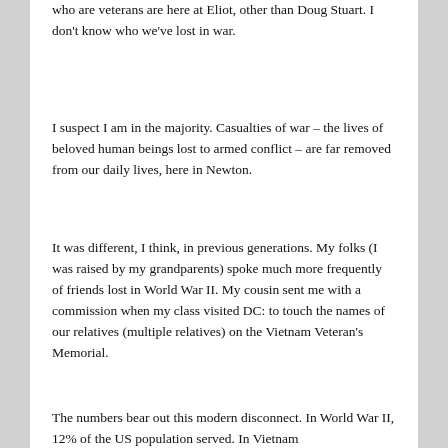who are veterans are here at Eliot, other than Doug Stuart.  I don't know who we've lost in war.
I suspect I am in the majority.  Casualties of war – the lives of beloved human beings lost to armed conflict – are far removed from our daily lives, here in Newton.
It was different, I think, in previous generations.  My folks (I was raised by my grandparents) spoke much more frequently of friends lost in World War II.  My cousin sent me with a commission when my class visited DC: to touch the names of our relatives (multiple relatives) on the Vietnam Veteran's Memorial.
The numbers bear out this modern disconnect.  In World War II, 12% of the US population served.  In Vietnam